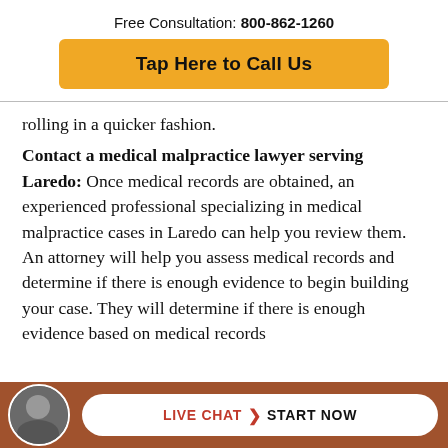Free Consultation: 800-862-1260
Tap Here to Call Us
rolling in a quicker fashion.
Contact a medical malpractice lawyer serving Laredo: Once medical records are obtained, an experienced professional specializing in medical malpractice cases in Laredo can help you review them. An attorney will help you assess medical records and determine if there is enough evidence to begin building your case. They will determine if there is enough evidence based on medical records fo...
[Figure (other): Live chat start now bar at the bottom with a circular avatar photo of a man, and a white pill-shaped button with LIVE CHAT > START NOW text.]